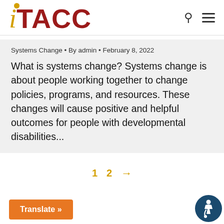[Figure (logo): iTACC logo with gold italic i and dot, red bold TACC text]
Systems Change · By admin · February 8, 2022
What is systems change? Systems change is about people working together to change policies, programs, and resources. These changes will cause positive and helpful outcomes for people with developmental disabilities...
1  2  →
Translate »